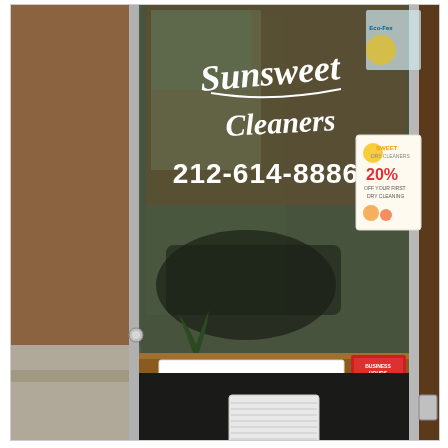[Figure (photo): Photograph of the entrance to Sunsweet Cleaners. A glass door shows white script text reading 'Sunsweet Cleaners 212-614-8886'. A white sign in the lower portion of the window reads '· WASH N FOLD SAME DAY SERVICE · DRY CLEAN · SHIRT ON HANGER · ALTERATIONS'. A promotional flyer with '20%' discount is visible in the upper right of the window. A red Business Hours sign is also visible. The door frame is silver/aluminum and the surrounding wall is brown. An open door to the left reveals a concrete floor.]